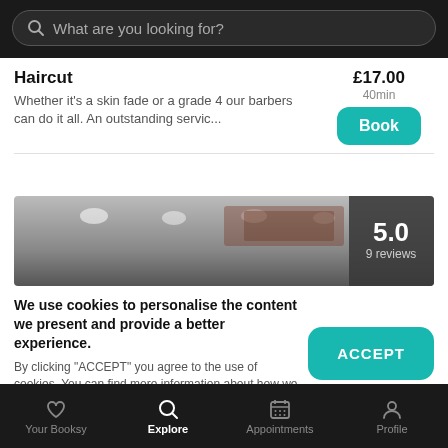What are you looking for?
Haircut
Whether it's a skin fade or a grade 4 our barbers can do it all. An outstanding servic...
£17.00 40min
[Figure (photo): Interior photo of a barbershop with overhead lights, showing a rating overlay of 5.0 with 9 reviews]
We use cookies to personalise the content we present and provide a better experience. By clicking "ACCEPT" you agree to the use of cookies. You can find more information about how we use cookies here.
Your Booksy | Explore | Appointments | Profile